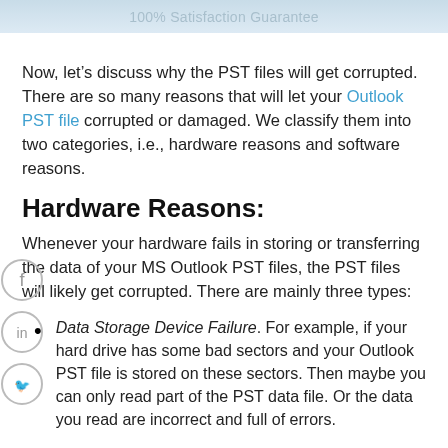100% Satisfaction Guarantee
Now, let’s discuss why the PST files will get corrupted. There are so many reasons that will let your Outlook PST file corrupted or damaged. We classify them into two categories, i.e., hardware reasons and software reasons.
Hardware Reasons:
Whenever your hardware fails in storing or transferring the data of your MS Outlook PST files, the PST files will likely get corrupted. There are mainly three types:
Data Storage Device Failure. For example, if your hard drive has some bad sectors and your Outlook PST file is stored on these sectors. Then maybe you can only read part of the PST data file. Or the data you read are incorrect and full of errors.